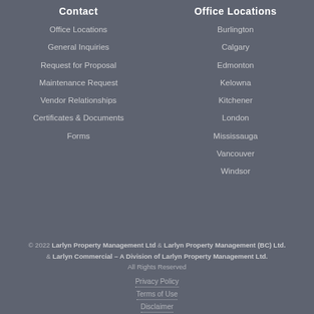Contact
Office Locations
Office Locations
General Inquiries
Request for Proposal
Maintenance Request
Vendor Relationships
Certificates & Documents
Forms
Burlington
Calgary
Edmonton
Kelowna
Kitchener
London
Mississauga
Vancouver
Windsor
© 2022 Larlyn Property Management Ltd & Larlyn Property Management (BC) Ltd. & Larlyn Commercial – A Division of Larlyn Property Management Ltd. All Rights Reserved
Privacy Policy
Terms of Use
Disclaimer